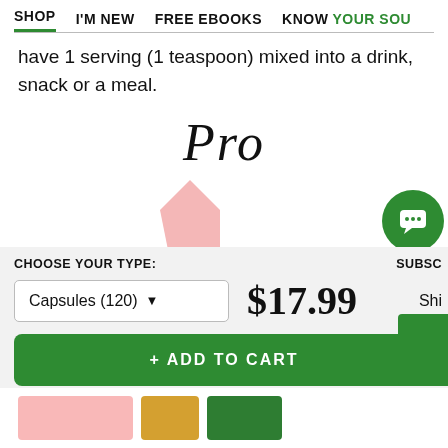SHOP   I'M NEW   FREE EBOOKS   KNOW YOUR SOU...
have 1 serving (1 teaspoon) mixed into a drink, snack or a meal.
Pro
[Figure (illustration): Pink angular product shape partially visible, and a green circular chat/support button icon on the right]
CHOOSE YOUR TYPE:
SUBSC...
Capsules (120) ▾
$17.99
Shi...
+ ADD TO CART